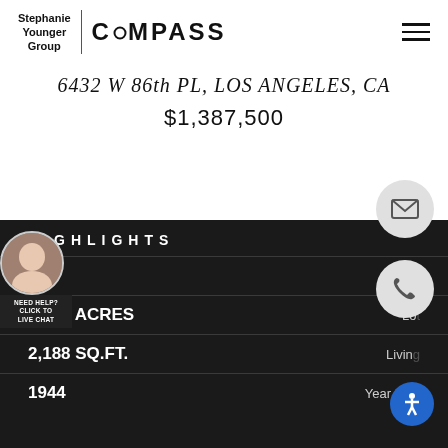Stephanie Younger Group | COMPASS
6432 W 86th PL, LOS ANGELES, CA
$1,387,500
HIGHLIGHTS
5  Beds
0.173 ACRES  Lot
2,188 SQ.FT.  Living
1944  Year Built